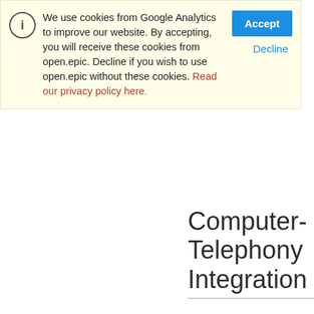We use cookies from Google Analytics to improve our website. By accepting, you will receive these cookies from open.epic. Decline if you wish to use open.epic without these cookies. Read our privacy policy here.
Computer-Telephony Integration
Epic    read the spec↓
Epic integrates with your organization's phone system so users can place or end a call directly from a patient chart or another activity in Epic, and details about the call